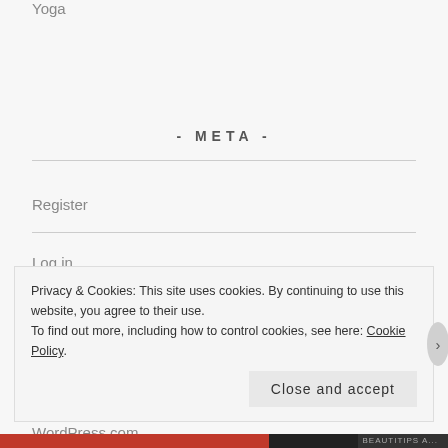Yoga
- META -
Register
Log in
Entries feed
Comments feed
WordPress.com
Privacy & Cookies: This site uses cookies. By continuing to use this website, you agree to their use.
To find out more, including how to control cookies, see here: Cookie Policy
Close and accept